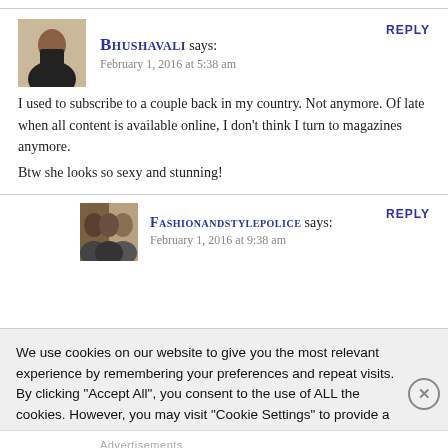BHUSHAVALI says:
February 1, 2016 at 5:38 am
REPLY
I used to subscribe to a couple back in my country. Not anymore. Of late when all content is available online, I don't think I turn to magazines anymore.
Btw she looks so sexy and stunning!
FASHIONANDSTYLEPOLICE says:
February 1, 2016 at 9:38 am
REPLY
We use cookies on our website to give you the most relevant experience by remembering your preferences and repeat visits. By clicking "Accept All", you consent to the use of ALL the cookies. However, you may visit "Cookie Settings" to provide a controlled consent.
Advertisements